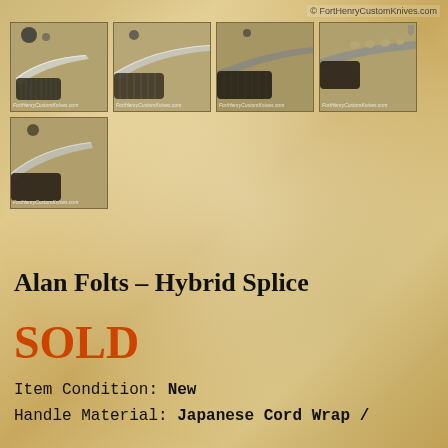© FortHenryCustomKnives.com
[Figure (photo): Five photos of a custom knife (Alan Folts Hybrid Splice) arranged in a grid: top row of four photos showing different angles of the knife with cord-wrapped handle and curved blade, bottom row with one photo showing handle detail. Each photo watermarked with FortHenryCustomKnives.com]
Alan Folts – Hybrid Splice
SOLD
Item Condition: New
Handle Material: Japanese Cord Wrap /